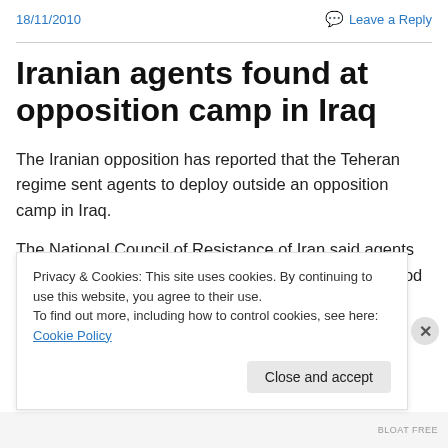18/11/2010   Leave a Reply
Iranian agents found at opposition camp in Iraq
The Iranian opposition has reported that the Teheran regime sent agents to deploy outside an opposition camp in Iraq.
The National Council of Resistance of Iran said agents from the Iranian Intelligence and Security Ministry stood
Privacy & Cookies: This site uses cookies. By continuing to use this website, you agree to their use.
To find out more, including how to control cookies, see here: Cookie Policy